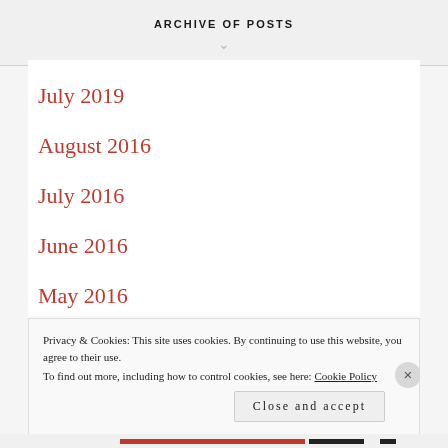ARCHIVE OF POSTS
July 2019
August 2016
July 2016
June 2016
May 2016
April 2016
Privacy & Cookies: This site uses cookies. By continuing to use this website, you agree to their use.
To find out more, including how to control cookies, see here: Cookie Policy
Close and accept